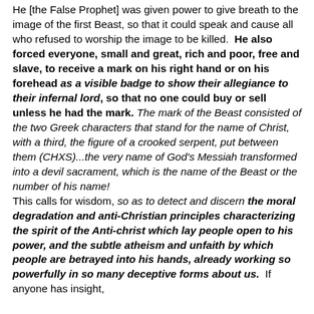He [the False Prophet] was given power to give breath to the image of the first Beast, so that it could speak and cause all who refused to worship the image to be killed.  He also forced everyone, small and great, rich and poor, free and slave, to receive a mark on his right hand or on his forehead as a visible badge to show their allegiance to their infernal lord, so that no one could buy or sell unless he had the mark. The mark of the Beast consisted of the two Greek characters that stand for the name of Christ, with a third, the figure of a crooked serpent, put between them (CHXS)...the very name of God's Messiah transformed into a devil sacrament, which is the name of the Beast or the number of his name! This calls for wisdom, so as to detect and discern the moral degradation and anti-Christian principles characterizing the spirit of the Anti-christ which lay people open to his power, and the subtle atheism and unfaith by which people are betrayed into his hands, already working so powerfully in so many deceptive forms about us.  If anyone has insight,